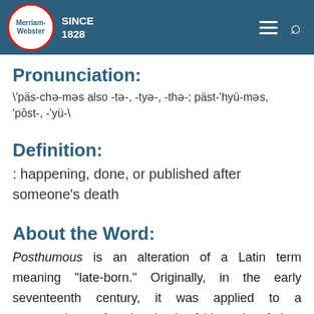[Figure (logo): Merriam-Webster logo with header navigation showing SINCE 1828, hamburger menu, and search icon on teal/dark blue background]
Pronunciation:
\'päs-chə-məs also -tə-, -tyə-, -thə-; päst-'hyü-məs, 'pōst-, -'yü-\
Definition:
: happening, done, or published after someone's death
About the Word:
Posthumous is an alteration of a Latin term meaning "late-born." Originally, in the early seventeenth century, it was applied to a perso born after the death of his or her father. The word has expanded in meaning over the